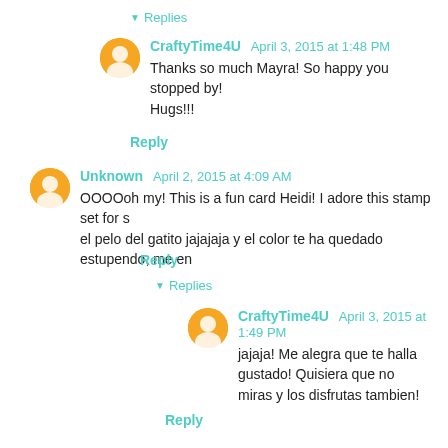▼ Replies
CraftyTime4U  April 3, 2015 at 1:48 PM
Thanks so much Mayra! So happy you stopped by! Hugs!!!
Reply
Unknown  April 2, 2015 at 4:09 AM
OOOOoh my! This is a fun card Heidi! I adore this stamp set for s... el pelo del gatito jajajaja y el color te ha quedado estupendo, me en...
Reply
▼ Replies
CraftyTime4U  April 3, 2015 at 1:49 PM
jajaja! Me alegra que te halla gustado! Quisiera que no... miras y los disfrutas tambien!
Reply